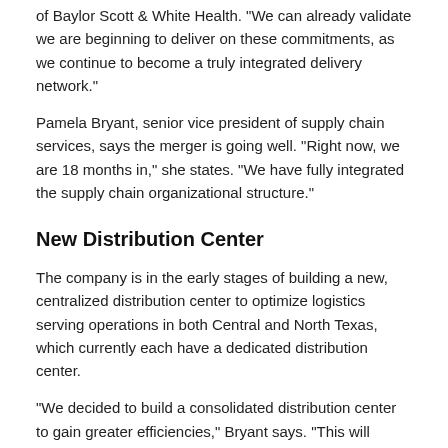of Baylor Scott & White Health. "We can already validate we are beginning to deliver on these commitments, as we continue to become a truly integrated delivery network."
Pamela Bryant, senior vice president of supply chain services, says the merger is going well. "Right now, we are 18 months in," she states. "We have fully integrated the supply chain organizational structure."
New Distribution Center
The company is in the early stages of building a new, centralized distribution center to optimize logistics serving operations in both Central and North Texas, which currently each have a dedicated distribution center.
"We decided to build a consolidated distribution center to gain greater efficiencies," Bryant says. "This will support our standardization efforts and inventory management goals. With a standardized inventory in one location, we will be able to reduce inventory at the hospitals, improve delivery of inventory, reduce touch points and effectively manage supplies at a logical unit of